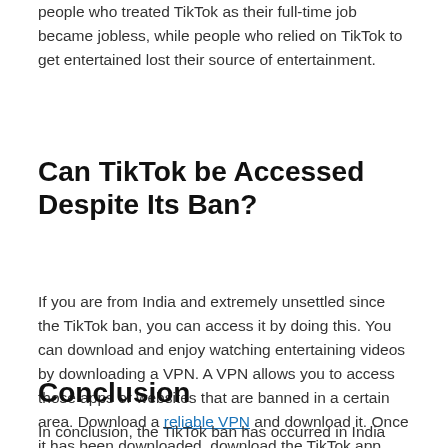people who treated TikTok as their full-time job became jobless, while people who relied on TikTok to get entertained lost their source of entertainment.
Can TikTok be Accessed Despite Its Ban?
If you are from India and extremely unsettled since the TikTok ban, you can access it by doing this. You can download and enjoy watching entertaining videos by downloading a VPN. A VPN allows you to access those apps or websites that are banned in a certain area. Download a reliable VPN and download it. Once it has been downloaded, download the TikTok app and watch your favorite TikTokers videos.
Conclusion
In conclusion, the TikTok ban has occurred in India due to security